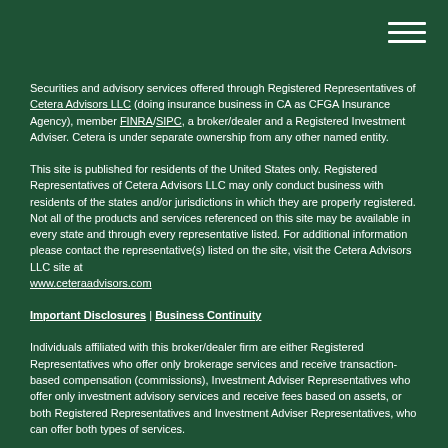Securities and advisory services offered through Registered Representatives of Cetera Advisors LLC (doing insurance business in CA as CFGA Insurance Agency), member FINRA/SIPC, a broker/dealer and a Registered Investment Adviser. Cetera is under separate ownership from any other named entity.
This site is published for residents of the United States only. Registered Representatives of Cetera Advisors LLC may only conduct business with residents of the states and/or jurisdictions in which they are properly registered. Not all of the products and services referenced on this site may be available in every state and through every representative listed. For additional information please contact the representative(s) listed on the site, visit the Cetera Advisors LLC site at www.ceteraadvisors.com
Important Disclosures | Business Continuity
Individuals affiliated with this broker/dealer firm are either Registered Representatives who offer only brokerage services and receive transaction-based compensation (commissions), Investment Adviser Representatives who offer only investment advisory services and receive fees based on assets, or both Registered Representatives and Investment Adviser Representatives, who can offer both types of services.